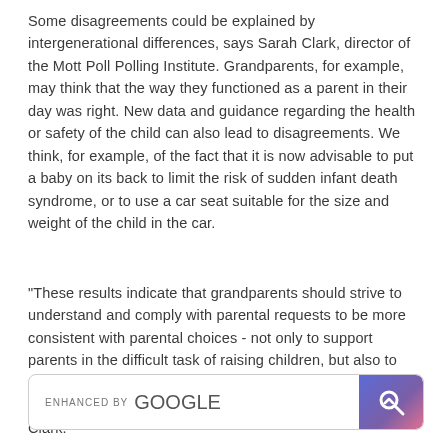Some disagreements could be explained by intergenerational differences, says Sarah Clark, director of the Mott Poll Polling Institute. Grandparents, for example, may think that the way they functioned as a parent in their day was right. New data and guidance regarding the health or safety of the child can also lead to disagreements. We think, for example, of the fact that it is now advisable to put a baby on its back to limit the risk of sudden infant death syndrome, or to use a car seat suitable for the size and weight of the child in the car.
"These results indicate that grandparents should strive to understand and comply with parental requests to be more consistent with parental choices - not only to support parents in the difficult task of raising children, but also to avoid an escalation of conflicts to the point of risking losing precious time with their grandchildren, "concluded Sarah Clark.
[Figure (other): Enhanced by Google search bar with Google logo and a purple/pink search icon button]